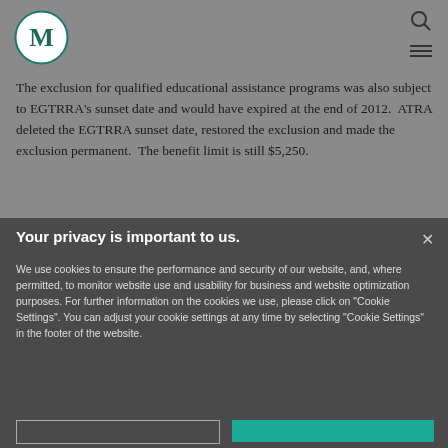[Figure (logo): Circular logo with letter M in teal/dark green on white circle background]
The exclusion for qualified educational assistance programs was also subject to EGTRRA's sunset date and would have expired at the end of 2012.  ATRA deleted the EGTRRA sunset date, restored the exclusion and made the exclusion permanent.  The benefit limit is still $5,250.
Your privacy is important to us.
We use cookies to ensure the performance and security of our website, and, where permitted, to monitor website use and usability for business and website optimization purposes. For further information on the cookies we use, please click on "Cookie Settings". You can adjust your cookie settings at any time by selecting "Cookie Settings" in the footer of the website.